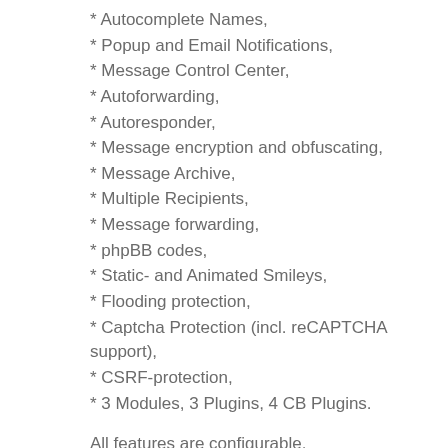* Autocomplete Names,
* Popup and Email Notifications,
* Message Control Center,
* Autoforwarding,
* Autoresponder,
* Message encryption and obfuscating,
* Message Archive,
* Multiple Recipients,
* Message forwarding,
* phpBB codes,
* Static- and Animated Smileys,
* Flooding protection,
* Captcha Protection (incl. reCAPTCHA support),
* CSRF-protection,
* 3 Modules, 3 Plugins, 4 CB Plugins.
All features are configurable.
Importing messages from most other PMS components is possible.
On the next chapter, you will find a complete feature...